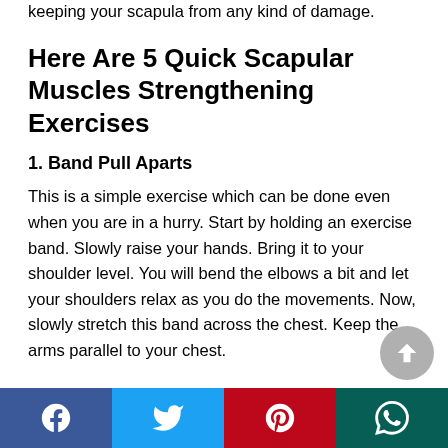keeping your scapula from any kind of damage.
Here Are 5 Quick Scapular Muscles Strengthening Exercises
1. Band Pull Aparts
This is a simple exercise which can be done even when you are in a hurry. Start by holding an exercise band. Slowly raise your hands. Bring it to your shoulder level. You will bend the elbows a bit and let your shoulders relax as you do the movements. Now, slowly stretch this band across the chest. Keep the arms parallel to your chest.
[Figure (other): Social media share bar with Facebook, Twitter, Pinterest, and WhatsApp buttons]